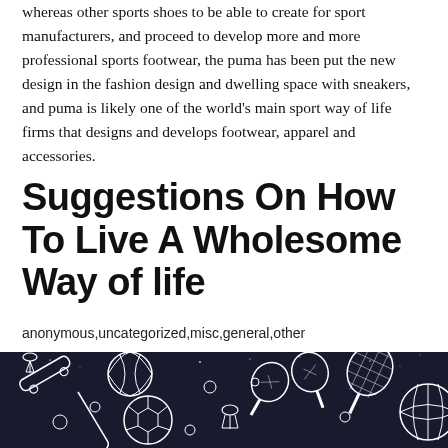whereas other sports shoes to be able to create for sport manufacturers, and proceed to develop more and more professional sports footwear, the puma has been put the new design in the fashion design and dwelling space with sneakers, and puma is likely one of the world's main sport way of life firms that designs and develops footwear, apparel and accessories.
Suggestions On How To Live A Wholesome Way of life
anonymous,uncategorized,misc,general,other
[Figure (illustration): Dark background illustration showing various sports equipment including soccer ball, basketball, badminton shuttlecocks, tennis/badminton rackets, skateboard, volleyball, baseball, and other sports items drawn in white outline style on a dark navy/black background with stars.]